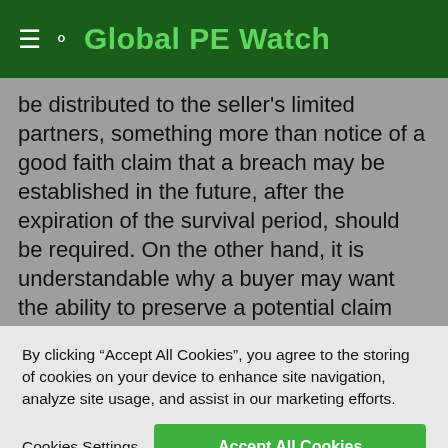Global PE Watch
be distributed to the seller's limited partners, something more than notice of a good faith claim that a breach may be established in the future, after the expiration of the survival period, should be required. On the other hand, it is understandable why a buyer may want the ability to preserve a potential claim past the end of the survival period if it has received information that establishes the likelihood
By clicking “Accept All Cookies”, you agree to the storing of cookies on your device to enhance site navigation, analyze site usage, and assist in our marketing efforts.
Cookies Settings
Accept All Cookies